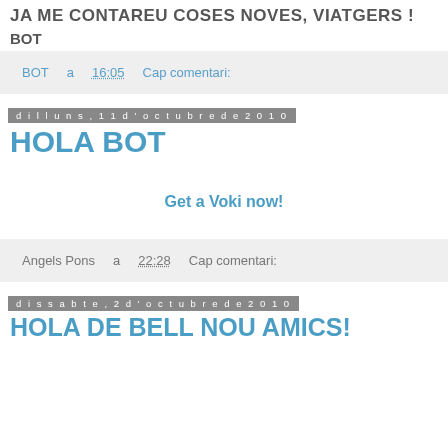JA ME CONTAREU COSES NOVES, VIATGERS!
BOT
BOT a 16:05    Cap comentari:
dilluns, 11 d'octubre de 2010
HOLA BOT
Get a Voki now!
Angels Pons a 22:28    Cap comentari:
dissabte, 2 d'octubre de 2010
HOLA DE BELL NOU AMICS!